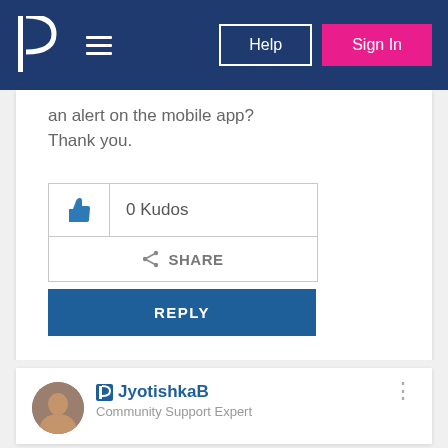[Figure (screenshot): Navigation bar with Pandora logo, hamburger menu, Help button, and Sign In button on dark blue background]
an alert on the mobile app? Thank you.
[Figure (other): 0 Kudos button with thumbs up icon]
[Figure (other): Share button]
[Figure (other): Reply button]
JyotishkaB
Community Support Expert